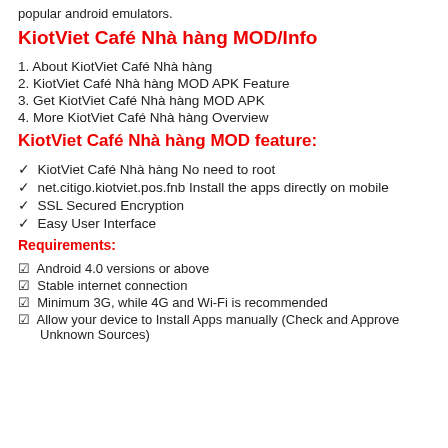popular android emulators.
KiotViet Café Nhà hàng MOD/Info
1. About KiotViet Café Nhà hàng
2. KiotViet Café Nhà hàng MOD APK Feature
3. Get KiotViet Café Nhà hàng MOD APK
4. More KiotViet Café Nhà hàng Overview
KiotViet Café Nhà hàng MOD feature:
✓ KiotViet Café Nhà hàng No need to root
✓ net.citigo.kiotviet.pos.fnb Install the apps directly on mobile
✓ SSL Secured Encryption
✓ Easy User Interface
Requirements:
☑ Android 4.0 versions or above
☑ Stable internet connection
☑ Minimum 3G, while 4G and Wi-Fi is recommended
☑ Allow your device to Install Apps manually (Check and Approve Unknown Sources)